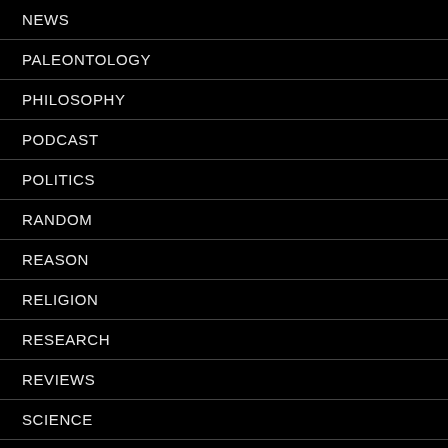NEWS
PALEONTOLOGY
PHILOSOPHY
PODCAST
POLITICS
RANDOM
REASON
RELIGION
RESEARCH
REVIEWS
SCIENCE
SHOW
THEGUARDIAN